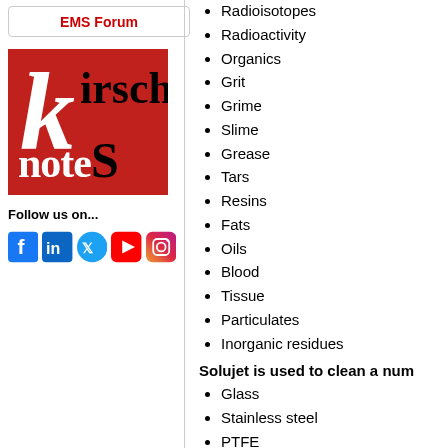[Figure (logo): EMS Forum button/box with red text]
[Figure (logo): Kirsch Notes logo — red square with K, irsch, noteS text]
Follow us on...
[Figure (illustration): Social media icons: Facebook, LinkedIn, Twitter, YouTube, Instagram]
Radioisotopes
Radioactivity
Organics
Grit
Grime
Slime
Grease
Tars
Resins
Fats
Oils
Blood
Tissue
Particulates
Inorganic residues
Solujet is used to clean a num
Glass
Stainless steel
PTFE
Ceramic
Cement
Inhibited for aluminum